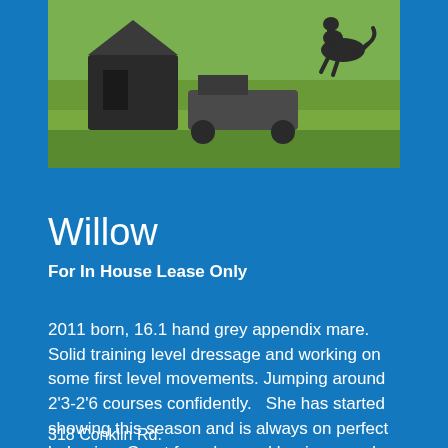[Figure (photo): Outdoor photo showing a green grass field with a dark tent/shelter structure and farm equipment on the left, and a horse jumping in the upper right corner]
Willow
For In House Lease Only
2011 born, 16.1 hand grey appendix mare.  Solid training level dressage and working on some first level movements. Jumping around 2'3-2'6 courses confidently.   She has started showing this season and is always on perfect behavior.  Great for advanced beginner and up.
318 Conklin Rd.